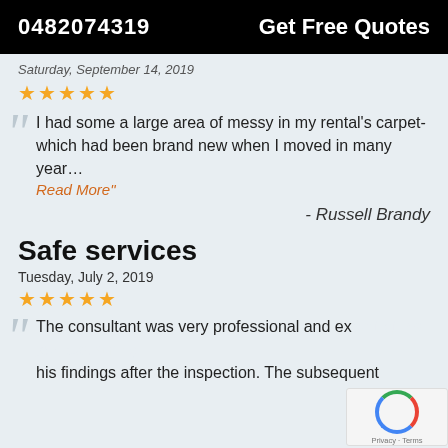0482074319   Get Free Quotes
Saturday, September 14, 2019
★★★★★
"I had some a large area of messy in my rental's carpet-which had been brand new when I moved in many year… Read More"
- Russell Brandy
Safe services
Tuesday, July 2, 2019
★★★★★
The consultant was very professional and ex... his findings after the inspection. The subsequent